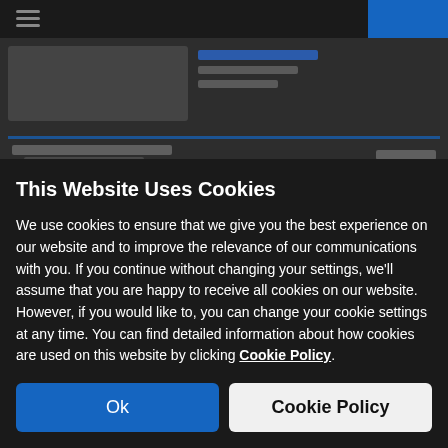[Figure (screenshot): Blurred background showing a dark-themed website with navigation bar, product images, and a blue button, partially obscured by the cookie consent overlay.]
This Website Uses Cookies
We use cookies to ensure that we give you the best experience on our website and to improve the relevance of our communications with you. If you continue without changing your settings, we'll assume that you are happy to receive all cookies on our website. However, if you would like to, you can change your cookie settings at any time. You can find detailed information about how cookies are used on this website by clicking Cookie Policy.
Ok
Cookie Policy